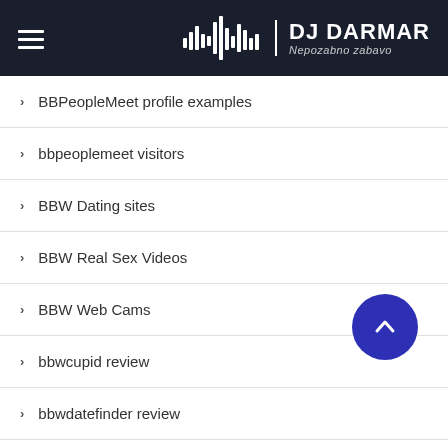DJ DARMAR – Nepozabno zabavo
BBPeopleMeet profile examples
bbpeoplemeet visitors
BBW Dating sites
BBW Real Sex Videos
BBW Web Cams
bbwcupid review
bbwdatefinder review